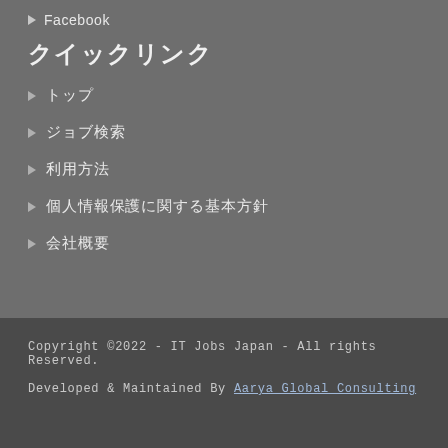▶ Facebook
クイックリンク
▶ トップ
▶ ジョブ検索
▶ 利用方法
▶ 個人情報保護に関する基本方針
▶ 会社概要
Copyright ©2022 - IT Jobs Japan - All rights Reserved.
Developed & Maintained By Aarya Global Consulting